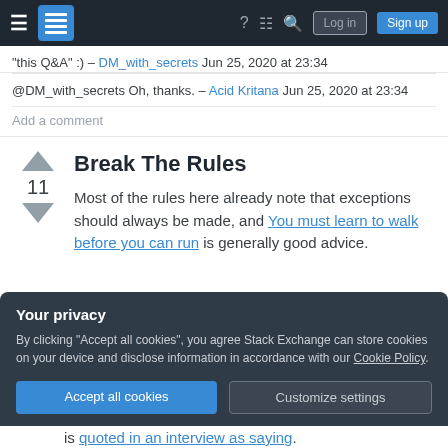Stack Exchange navigation bar with hamburger menu, logo, help, chat, search icons, Log in and Sign up buttons
"this Q&A" :) – DM_with_secrets Jun 25, 2020 at 23:34
@DM_with_secrets Oh, thanks. – Acid Kritana Jun 25, 2020 at 23:34
Add a comment
Break The Rules
Most of the rules here already note that exceptions should always be made, and You must learn to walk before you can run is generally good advice.
Your privacy
By clicking "Accept all cookies", you agree Stack Exchange can store cookies on your device and disclose information in accordance with our Cookie Policy.
Accept all cookies
Customize settings
is quoted in an interview as saying.